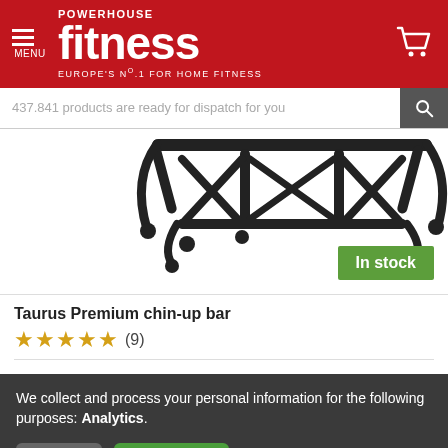POWERHOUSE fitness EUROPE'S No.1 FOR HOME FITNESS
437.841 products are ready for dispatch for you
[Figure (photo): Taurus Premium chin-up bar product photo showing black metal pull-up bar with multiple grip positions against white background]
In stock
Taurus Premium chin-up bar
★★★★★ (9)
We collect and process your personal information for the following purposes: Analytics.
Decline  Accept all  Customize...